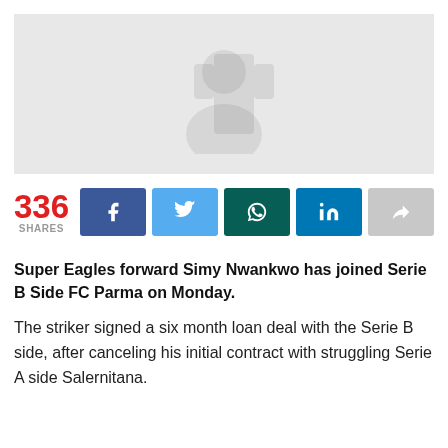[Figure (photo): Grayscale photo placeholder of a footballer, faded/watermarked]
336 SHARES
[Figure (infographic): Social share buttons: Facebook, Twitter, WhatsApp, LinkedIn, Share]
Super Eagles forward Simy Nwankwo has joined Serie B Side FC Parma on Monday.
The striker signed a six month loan deal with the Serie B side, after canceling his initial contract with struggling Serie A side Salernitana.